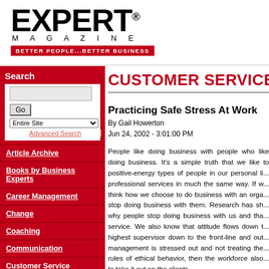[Figure (logo): Expert Magazine logo with tagline 'BETTER PEOPLE...BETTER BUSINESS']
Search
Article Archive
Books by Business Experts
Career Management
Change
Coaching
Communication
Customer Service
Diversity
CUSTOMER SERVICE
Practicing Safe Stress At Work
By Gail Howerton
Jun 24, 2002 - 3:01:00 PM
People like doing business with people who like doing business. It's a simple truth that we like to positive-energy types of people in our personal li... professional services in much the same way. If w... think how we choose to do business with an orga... stop doing business with them. Research has sh... why people stop doing business with us and tha... service. We also know that attitude flows down t... highest supervisor down to the front-line and out... management is stressed out and not treating the... rules of ethical behavior, then the workforce also... to take it out on the clients.